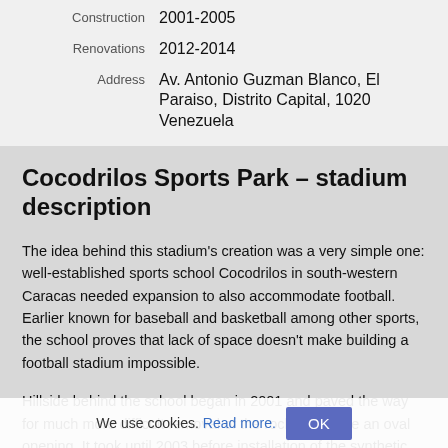Construction  2001-2005
Renovations  2012-2014
Address  Av. Antonio Guzman Blanco, El Paraiso, Distrito Capital, 1020 Venezuela
Cocodrilos Sports Park – stadium description
The idea behind this stadium's creation was a very simple one: well-established sports school Cocodrilos in south-western Caracas needed expansion to also accommodate football. Earlier known for baseball and basketball among other sports, the school proves that lack of space doesn't make building a football stadium impossible.
Hillside behind the school began in 2001 and paved the way for much more difficult removal of the rocks to create an oval opening. It took until 2003 before installation of the synthetic field could commence. With two low terraces (east and south) the stadium...
We use cookies. Read more. OK